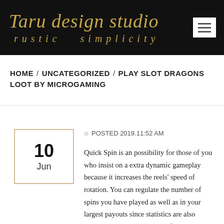Taru design studio — rustic simplicity
HOME / UNCATEGORIZED / PLAY SLOT DRAGONS LOOT BY MICROGAMING
10 Jun
POSTED 2019.11:52 AM
Quick Spin is an possibility for those of you who insist on a extra dynamic gameplay because it increases the reels' speed of rotation. You can regulate the number of spins you have played as well as in your largest payouts since statistics are also available in Dragon's Loot. After being in